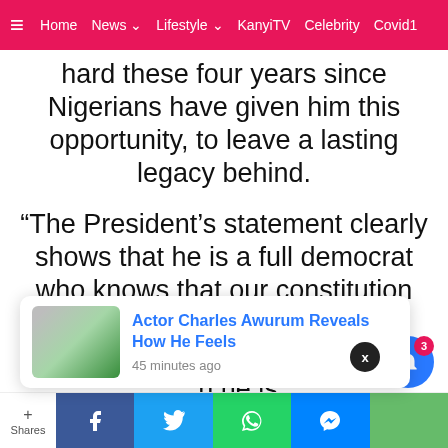≡  Home  News ▾  Lifestyle ▾  KanyiTV  Celebrity  Covid1
hard these four years since Nigerians have given him this opportunity, to leave a lasting legacy behind.
“The President’s statement clearly shows that he is a full democrat who knows that our constitution only provides for second term which he has gotten, and for which he is [accountable to Nigerians].
[Figure (screenshot): Notification popup: Actor Charles Awurum Reveals How He Feels, 45 minutes ago, with thumbnail photo]
+ Shares  [Facebook] [Twitter] [WhatsApp] [Messenger] [Green]